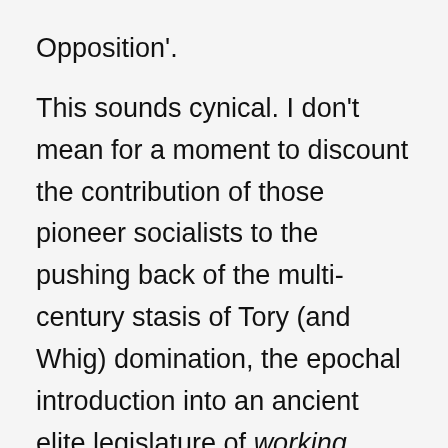Opposition'.
This sounds cynical. I don't mean for a moment to discount the contribution of those pioneer socialists to the pushing back of the multi-century stasis of Tory (and Whig) domination, the epochal introduction into an ancient elite legislature of working people. And, of course, individual Labour members have provided the backbone to countless labour disputes over the years—but it is vital to be clear-eyed about this. Labour in Parliament, from its very beginnings, was not a workers' party. In the present day it's a progressive